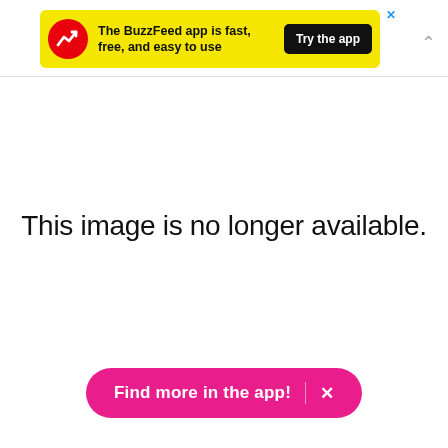[Figure (screenshot): BuzzFeed app advertisement banner with yellow background, red circular logo with white trending arrow, bold text 'The BuzzFeed app is fast, free, and easy to use', black 'Try the app' button, and a blue X close button.]
This image is no longer available.
[Figure (other): Pink rounded pill-shaped CTA button reading 'Find more in the app!' with a white X close icon separated by a vertical divider.]